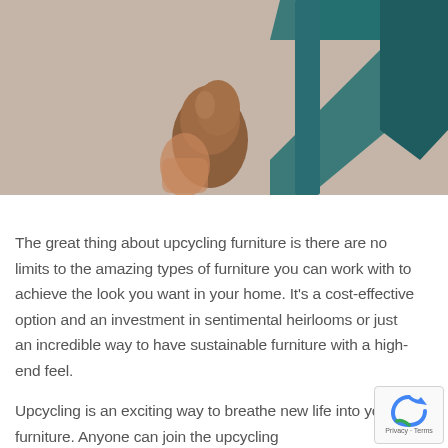[Figure (photo): Close-up photo of a teal/dark green chair frame and a wooden leg or foot, with a light beige/grey background. The image is taken from a low angle showing part of the chair structure.]
The great thing about upcycling furniture is there are no limits to the amazing types of furniture you can work with to achieve the look you want in your home. It's a cost-effective option and an investment in sentimental heirlooms or just an incredible way to have sustainable furniture with a high-end feel.
Upcycling is an exciting way to breathe new life into your furniture. Anyone can join the upcycling